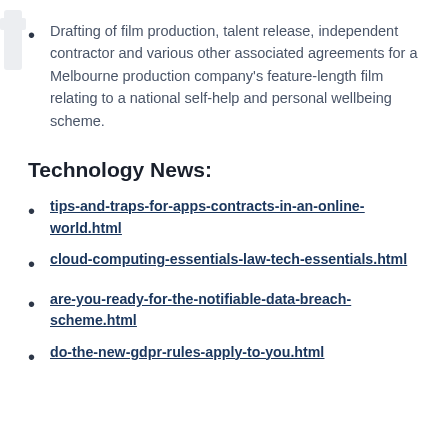Drafting of film production, talent release, independent contractor and various other associated agreements for a Melbourne production company's feature-length film relating to a national self-help and personal wellbeing scheme.
Technology News:
tips-and-traps-for-apps-contracts-in-an-online-world.html
cloud-computing-essentials-law-tech-essentials.html
are-you-ready-for-the-notifiable-data-breach-scheme.html
do-the-new-gdpr-rules-apply-to-you.html